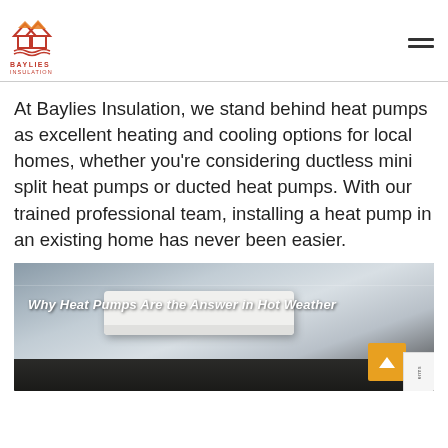[Figure (logo): Baylies Insulation logo with two house silhouettes (red outline, orange/yellow roof highlights) and wave lines below, with company name BAYLIES INSULATION in red text below]
At Baylies Insulation, we stand behind heat pumps as excellent heating and cooling options for local homes, whether you're considering ductless mini split heat pumps or ducted heat pumps. With our trained professional team, installing a heat pump in an existing home has never been easier.
[Figure (photo): Photo of a white ductless mini split heat pump unit mounted on an interior wall near the ceiling, with text overlay reading 'Why Heat Pumps Are the Answer in Hot Weather']